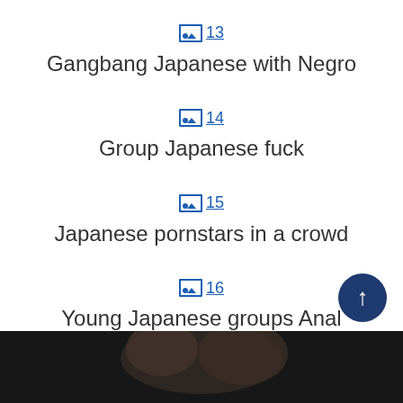🖼 13
Gangbang Japanese with Negro
🖼 14
Group Japanese fuck
🖼 15
Japanese pornstars in a crowd
🖼 16
Young Japanese groups Anal
[Figure (photo): Partial photo visible at bottom of page showing a person's face/upper body against dark background]